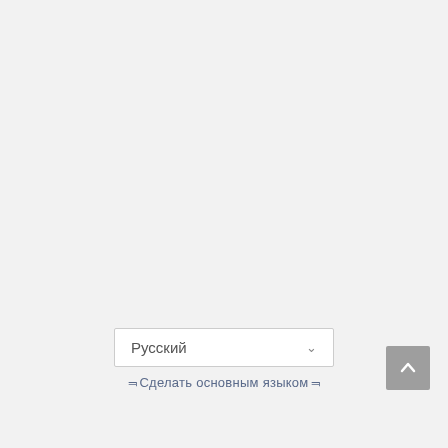[Figure (screenshot): Language selector dropdown showing 'Русский' with a chevron/arrow, and a link below reading '[Сделать основным языком]'. A scroll-to-top button (grey square with upward arrow) appears at bottom right.]
Русский
⎡Сделать основным языком⎦